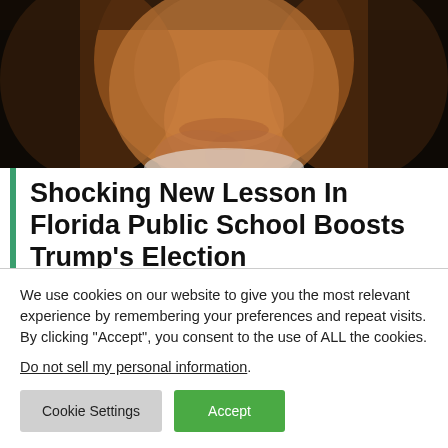[Figure (photo): Close-up photo of a man's face (from nose to chin area) with a dark background. The man has light skin with an orange/tan complexion, visible jowls, and appears to be wearing a white collar shirt.]
Shocking New Lesson In Florida Public School Boosts Trump’s Election
We use cookies on our website to give you the most relevant experience by remembering your preferences and repeat visits. By clicking “Accept”, you consent to the use of ALL the cookies.
Do not sell my personal information.
Cookie Settings  Accept